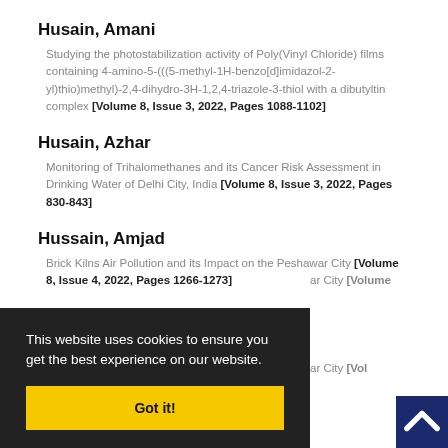Husain, Amani
Studying the photostabilization activity of Poly(Vinyl Chloride) films containing 4-amino-5-(((5-methyl-1H-benzo[d]imidazol-2-yl)thio)methyl)-2,4-dihydro-3H-1,2,4-triazole-3-thiol with a dibutyltin complex [Volume 8, Issue 3, 2022, Pages 1088-1102]
Husain, Azhar
Monitoring of Trihalomethanes and its Cancer Risk Assessment in Drinking Water of Delhi City, India [Volume 8, Issue 3, 2022, Pages 830-843]
Hussain, Amjad
Brick Kilns Air Pollution and its Impact on the Peshawar City [Volume 8, Issue 4, 2022, Pages 1266-1273]
Hussain, Javid
...ar City [Volume ...
This website uses cookies to ensure you get the best experience on our website.